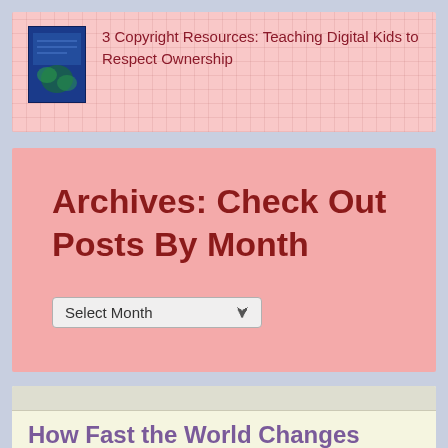[Figure (screenshot): Blue book thumbnail image]
3 Copyright Resources: Teaching Digital Kids to Respect Ownership
Archives: Check Out Posts By Month
Select Month
How Fast the World Changes